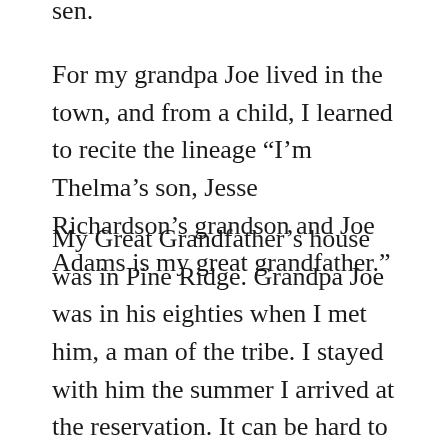sen.
For my grandpa Joe lived in the town, and from a child, I learned to recite the lineage “I’m Thelma’s son, Jesse Richardson’s grandson and Joe Adams is my great grandfather.”
My Great Grandfather’s house was in Pine Ridge. Grandpa Joe was in his eighties when I met him, a man of the tribe. I stayed with him the summer I arrived at the reservation. It can be hard to pull up such young and tender memories, but it is needed. Grandpa Joe was hard and leathery on the outside, but he moved with the litheness of the young. He was slow and attentive. He lived by himself, drove himself, and took care of me and a